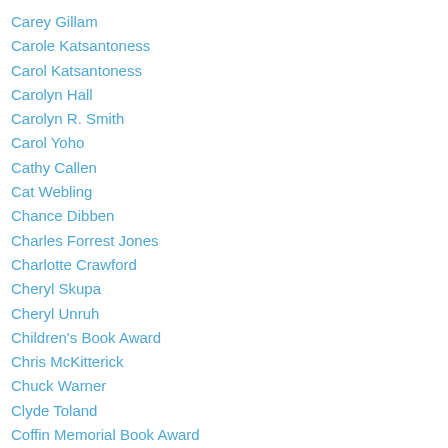Carey Gillam
Carole Katsantoness
Carol Katsantoness
Carolyn Hall
Carolyn R. Smith
Carol Yoho
Cathy Callen
Cat Webling
Chance Dibben
Charles Forrest Jones
Charlotte Crawford
Cheryl Skupa
Cheryl Unruh
Children's Book Award
Chris McKitterick
Chuck Warner
Clyde Toland
Coffin Memorial Book Award
Connie Rae White
Contests